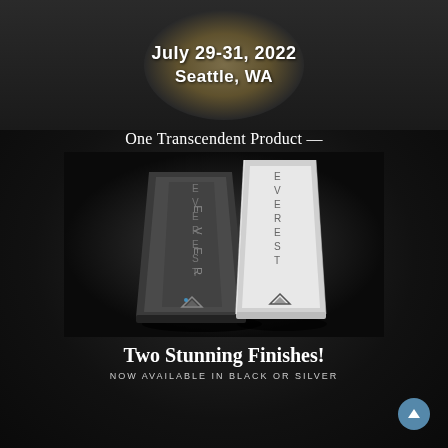[Figure (photo): Top portion of a page showing event date and location — July 29-31, 2022, Seattle, WA — overlaid on a circular speaker grille graphic against a dark background.]
July 29-31, 2022
Seattle, WA
[Figure (photo): Product advertisement on dark background showing two audio devices labeled EVEREST — one in dark/black finish and one in silver/white finish — standing upright like monolith towers. The Accustic Arts or similar high-end audio brand logo (triangle/mountain) appears at the base of each unit.]
One Transcendent Product —
Two Stunning Finishes!
NOW AVAILABLE IN BLACK OR SILVER